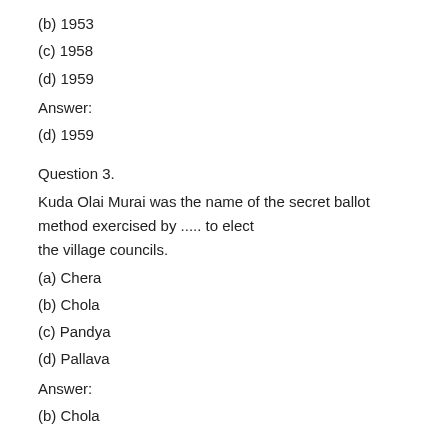(b) 1953
(c) 1958
(d) 1959
Answer:
(d) 1959
Question 3.
Kuda Olai Murai was the name of the secret ballot method exercised by ..... to elect the village councils.
(a) Chera
(b) Chola
(c) Pandya
(d) Pallava
Answer:
(b) Chola
Question 4.
There are ...... corporations in Tamil Nadu.
(a) 12
(b) 13